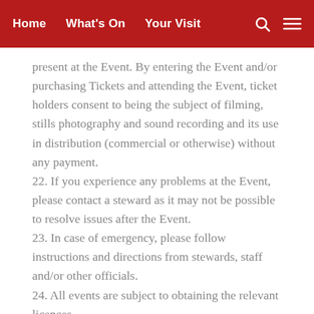Home  What's On  Your Visit
present at the Event. By entering the Event and/or purchasing Tickets and attending the Event, ticket holders consent to being the subject of filming, stills photography and sound recording and its use in distribution (commercial or otherwise) without any payment.
22. If you experience any problems at the Event, please contact a steward as it may not be possible to resolve issues after the Event.
23. In case of emergency, please follow instructions and directions from stewards, staff and/or other officials.
24. All events are subject to obtaining the relevant licences.